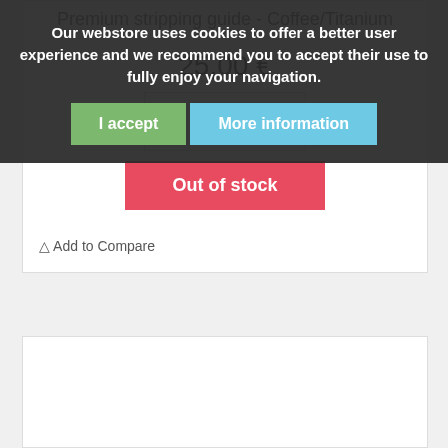Premium stripping guide - Coffee/Titanium
25,00 €
More
Out of stock
Add to Compare
Our webstore uses cookies to offer a better user experience and we recommend you to accept their use to fully enjoy your navigation.
I accept
More information